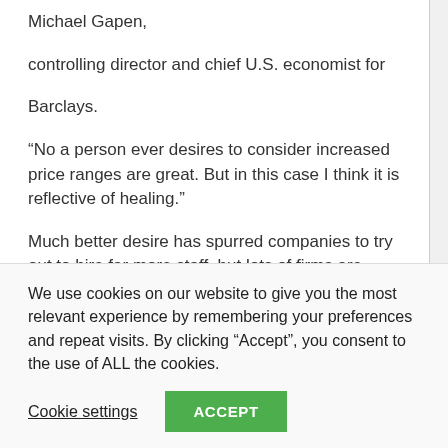Michael Gapen,
controlling director and chief U.S. economist for
Barclays.
“No a person ever desires to consider increased price ranges are great. But in this case I think it is reflective of healing.”
Much better desire has spurred companies to try out to hire far more staff, but lots of firms are elevating wages as they struggle to retain the services of men and women. Position openings arrived at 9.3 million in April, the
We use cookies on our website to give you the most relevant experience by remembering your preferences and repeat visits. By clicking “Accept”, you consent to the use of ALL the cookies.
Cookie settings
ACCEPT